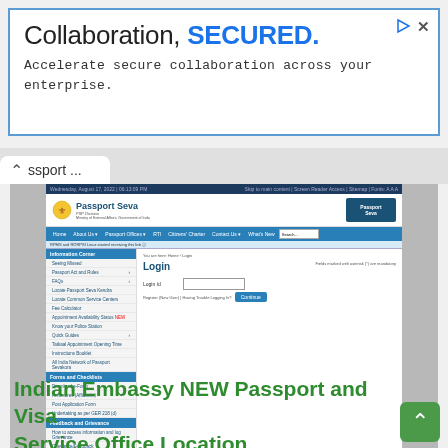[Figure (screenshot): Advertisement banner: 'Collaboration, SECURED. Accelerate secure collaboration across your enterprise.' with blue border and play/close icons]
ssport ...
[Figure (screenshot): Passport Seva PSP website screenshot showing Login page with Information Corner sidebar menu, navigation bar, and login form with Login Id field and Continue button]
Indian Embassy NEW Passport and Visa Service Office Location